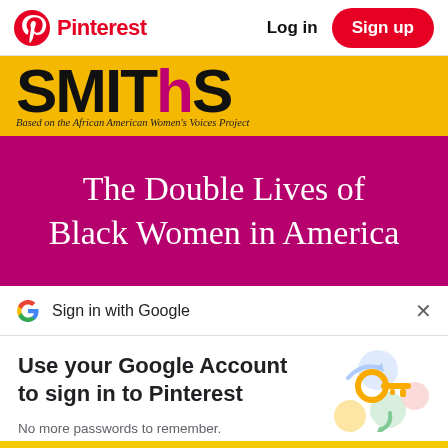Pinterest  Log in  Sign up
[Figure (photo): Book cover showing 'SMITHS' in large letters on yellow background with subtitle 'Based on the African American Women's Voices Project', and below on magenta background 'The Double Lives of Black Women in America']
Sign in with Google
Use your Google Account to sign in to Pinterest
No more passwords to remember. Signing in is fast, simple and secure.
[Figure (illustration): Google key illustration with colorful arrows and circles representing sign-in security]
Continue